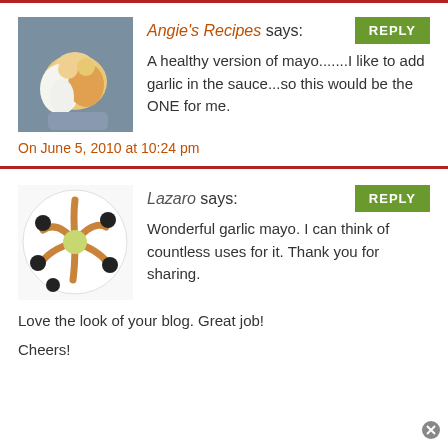Angie's Recipes says:
A healthy version of mayo.......I like to add garlic in the sauce...so this would be the ONE for me.
On June 5, 2010 at 10:24 pm
Lazaro says:
Wonderful garlic mayo. I can think of countless uses for it. Thank you for sharing.
Love the look of your blog. Great job!
Cheers!